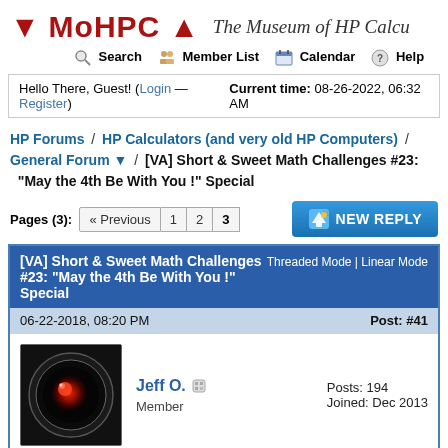MoHPC ▼ ▲  The Museum of HP Calcu
Search  Member List  Calendar  Help
Hello There, Guest! (Login — Register)   Current time: 08-26-2022, 06:32 AM
HP Forums / HP Calculators (and very old HP Computers) / General Forum ▼ / [VA] Short & Sweet Math Challenges #23: "May the 4th Be With You !" Special
Pages (3):  « Previous  1  2  3
NEW REPLY
[VA] Short & Sweet Math Challenges #23: "May the 4th Be With You !" Special   Threaded Mode | Linear Mode
06-22-2018, 08:20 PM   Post: #41
[Figure (photo): User avatar: dark circular lens/eye with red glow, HAL 9000 style, on black background]
Jeff O.  Member   Posts: 194  Joined: Dec 2013
RE: [VA] Short & Sweet Math Challenges #23: "May the 4th Be With You !" ...
With some coaching and insights from Valentin, I attacked the